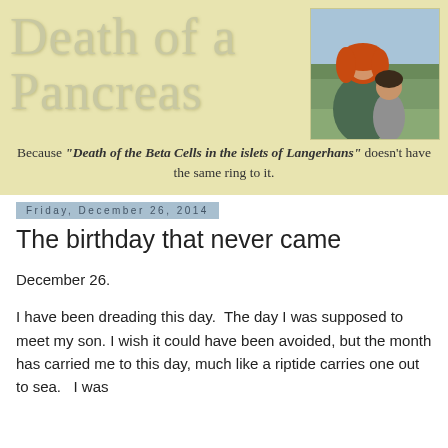Death of a Pancreas
[Figure (photo): Photo of a woman with red hair and a child outdoors, trees in background]
Because "Death of the Beta Cells in the islets of Langerhans" doesn't have the same ring to it.
Friday, December 26, 2014
The birthday that never came
December 26.
I have been dreading this day.  The day I was supposed to meet my son. I wish it could have been avoided, but the month has carried me to this day, much like a riptide carries one out to sea.   I was